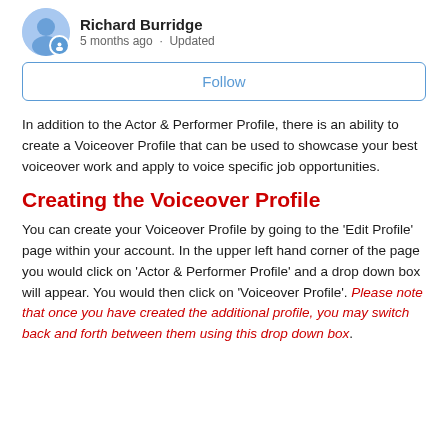Richard Burridge
5 months ago · Updated
Follow
In addition to the Actor & Performer Profile, there is an ability to create a Voiceover Profile that can be used to showcase your best voiceover work and apply to voice specific job opportunities.
Creating the Voiceover Profile
You can create your Voiceover Profile by going to the 'Edit Profile' page within your account. In the upper left hand corner of the page you would click on 'Actor & Performer Profile' and a drop down box will appear. You would then click on 'Voiceover Profile'. Please note that once you have created the additional profile, you may switch back and forth between them using this drop down box.